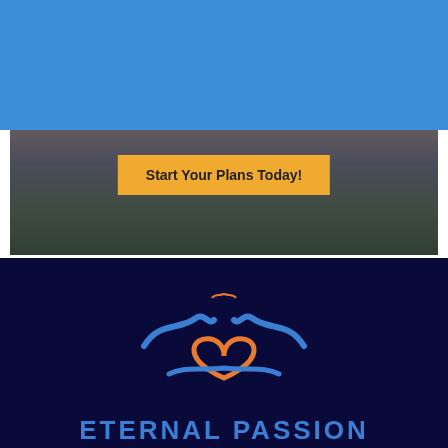[Figure (logo): Eternal Passion Travel logo in top-left of blue header bar]
[Figure (other): Hamburger menu icon (three horizontal white lines) in top-right of blue header bar]
[Figure (photo): Dark background hero image with blurred interior scene]
Start Your Plans Today!
[Figure (logo): Eternal Passion Travel large logo with waves and heart on dark navy footer]
ETERNAL PASSION